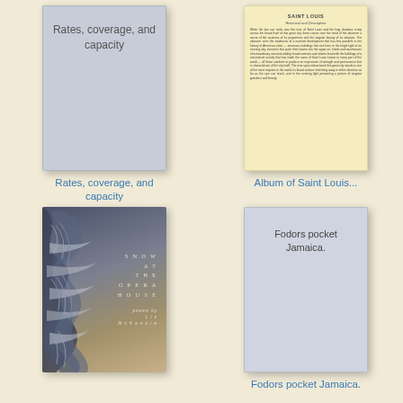[Figure (illustration): Book cover thumbnail: gray cover with text 'Rates, coverage, and capacity']
[Figure (illustration): Book cover thumbnail: yellowed page document titled 'Album of Saint Louis' with dense small text]
Rates, coverage, and capacity
Album of Saint Louis...
[Figure (illustration): Book cover thumbnail: 'Snow at the Opera House' poetry book with frost/feather macro photograph background]
[Figure (illustration): Book cover thumbnail: gray cover with text 'Fodors pocket Jamaica.']
Fodors pocket Jamaica.